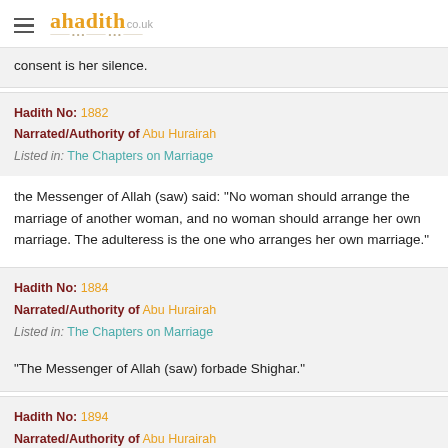ahadith co.uk
consent is her silence.
Hadith No: 1882
Narrated/Authority of Abu Hurairah
Listed in: The Chapters on Marriage
the Messenger of Allah (saw) said: "No woman should arrange the marriage of another woman, and no woman should arrange her own marriage. The adulteress is the one who arranges her own marriage."
Hadith No: 1884
Narrated/Authority of Abu Hurairah
Listed in: The Chapters on Marriage
"The Messenger of Allah (saw) forbade Shighar."
Hadith No: 1894
Narrated/Authority of Abu Hurairah